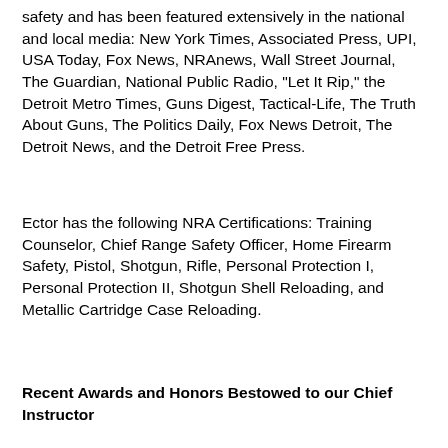safety and has been featured extensively in the national and local media: New York Times, Associated Press, UPI, USA Today, Fox News, NRAnews, Wall Street Journal, The Guardian, National Public Radio, "Let It Rip," the Detroit Metro Times, Guns Digest, Tactical-Life, The Truth About Guns, The Politics Daily, Fox News Detroit, The Detroit News, and the Detroit Free Press.
Ector has the following NRA Certifications: Training Counselor, Chief Range Safety Officer, Home Firearm Safety, Pistol, Shotgun, Rifle, Personal Protection I, Personal Protection II, Shotgun Shell Reloading, and Metallic Cartridge Case Reloading.
Recent Awards and Honors Bestowed to our Chief Instructor